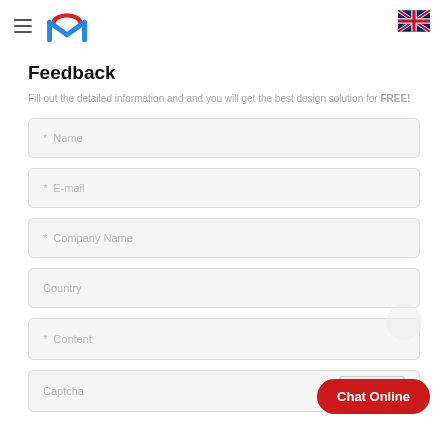[Figure (logo): Company logo with red arc and blue M letter]
[Figure (illustration): UK flag icon in top right corner]
Feedback
Fill out the detailed information and and you will get the best design solution for FREE!
* Name (form field placeholder)
* E-mail (form field placeholder)
* Company Name (form field placeholder)
Country (form field placeholder)
* Content (form field placeholder)
Captcha (form field placeholder)
Chat Online (button)